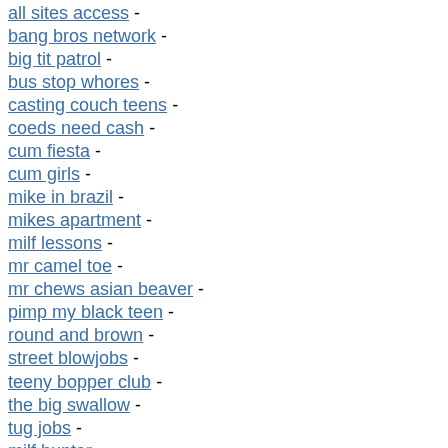all sites access -
bang bros network -
big tit patrol -
bus stop whores -
casting couch teens -
coeds need cash -
cum fiesta -
cum girls -
mike in brazil -
mikes apartment -
milf lessons -
mr camel toe -
mr chews asian beaver -
pimp my black teen -
round and brown -
street blowjobs -
teeny bopper club -
the big swallow -
tug jobs -
milf hunter -
8th street latinas -
all sites access -
bang bros network -